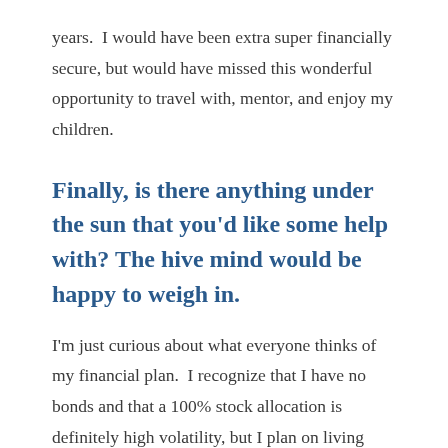years.  I would have been extra super financially secure, but would have missed this wonderful opportunity to travel with, mentor, and enjoy my children.
Finally, is there anything under the sun that you'd like some help with? The hive mind would be happy to weigh in.
I'm just curious about what everyone thinks of my financial plan.  I recognize that I have no bonds and that a 100% stock allocation is definitely high volatility, but I plan on living solely on my real